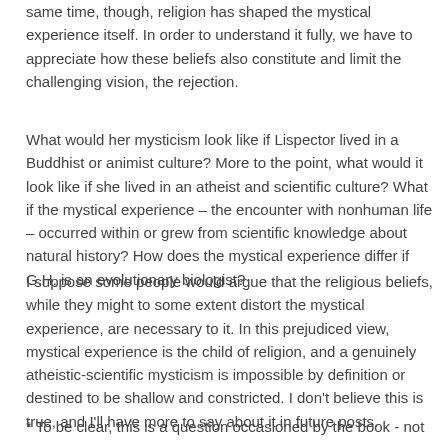same time, though, religion has shaped the mystical experience itself. In order to understand it fully, we have to appreciate how these beliefs also constitute and limit the challenging vision, the rejection.
What would her mysticism look like if Lispector lived in a Buddhist or animist culture? More to the point, what would it look like if she lived in an atheist and scientific culture? What if the mystical experience – the encounter with nonhuman life – occurred within or grew from scientific knowledge about natural history? How does the mystical experience differ if G.H. is an evolutionary biologist?
I suppose some people would argue that the religious beliefs, while they might to some extent distort the mystical experience, are necessary to it. In this prejudiced view, mystical experience is the child of religion, and a genuinely atheistic-scientific mysticism is impossible by definition or destined to be shallow and constricted. I don't believe this is true, and I'll have more to say about it in future posts.
* To be clear, this is a question occasioned by the book - not